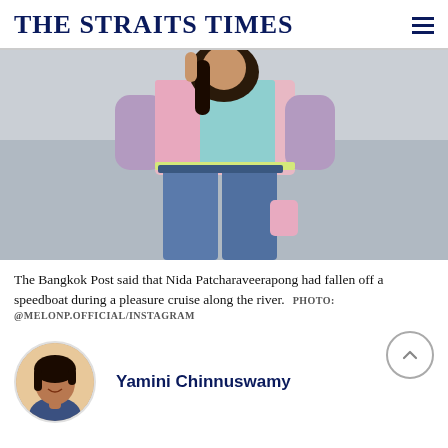THE STRAITS TIMES
[Figure (photo): Young woman wearing a colorful pastel patchwork crop top and high-waisted jeans, standing against a grey concrete wall, holding a pink item]
The Bangkok Post said that Nida Patcharaveerapong had fallen off a speedboat during a pleasure cruise along the river. PHOTO: @MELONP.OFFICIAL/INSTAGRAM
[Figure (photo): Circular headshot of Yamini Chinnuswamy, a woman with short dark hair, smiling]
Yamini Chinnuswamy